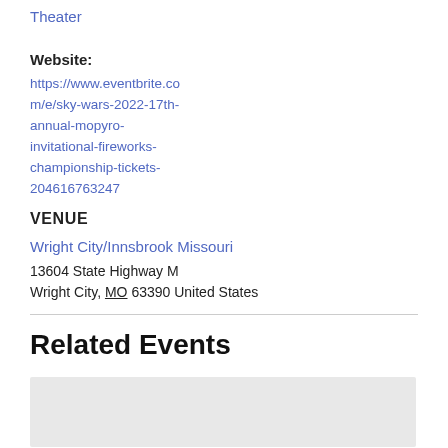Theater
Website:
https://www.eventbrite.com/e/sky-wars-2022-17th-annual-mopyro-invitational-fireworks-championship-tickets-204616763247
VENUE
Wright City/Innsbrook Missouri
13604 State Highway M
Wright City, MO 63390 United States
Related Events
[Figure (photo): Placeholder image for a related event thumbnail, light gray background]